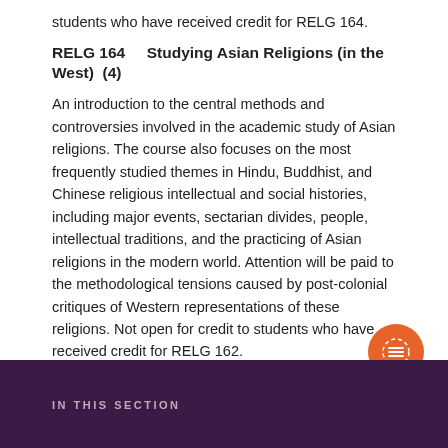students who have received credit for RELG 164.
RELG 164     Studying Asian Religions (in the West)  (4)
An introduction to the central methods and controversies involved in the academic study of Asian religions. The course also focuses on the most frequently studied themes in Hindu, Buddhist, and Chinese religious intellectual and social histories, including major events, sectarian divides, people, intellectual traditions, and the practicing of Asian religions in the modern world. Attention will be paid to the methodological tensions caused by post-colonial critiques of Western representations of these religions. Not open for credit to students who have received credit for RELG 162.
RELG 201     The Spirit and Forms of Anglicanism  (4)
IN THIS SECTION